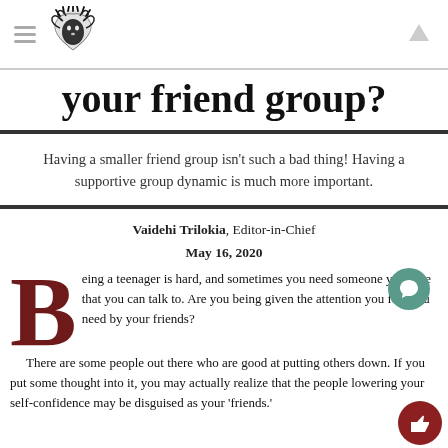[Navigation header with logo and up arrow]
your friend group?
Having a smaller friend group isn't such a bad thing! Having a supportive group dynamic is much more important.
Vaidehi Trilokia, Editor-in-Chief
May 16, 2020
Being a teenager is hard, and sometimes you need someone your age that you can talk to. Are you being given the attention you feel you need by your friends?
There are some people out there who are good at putting others down. If you put some thought into it, you may actually realize that the people lowering your self-confidence may be disguised as your 'friends.'